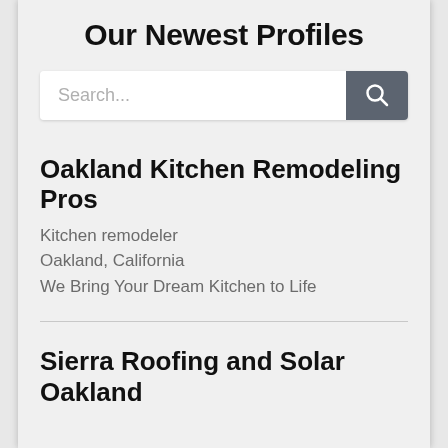Our Newest Profiles
[Figure (screenshot): Search bar with text input and dark gray search button with magnifying glass icon]
Oakland Kitchen Remodeling Pros
Kitchen remodeler
Oakland, California
We Bring Your Dream Kitchen to Life
Sierra Roofing and Solar Oakland